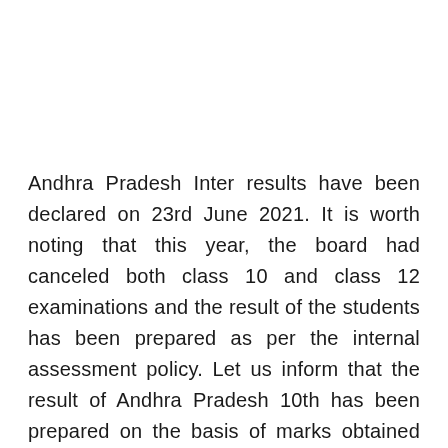Andhra Pradesh Inter results have been declared on 23rd June 2021. It is worth noting that this year, the board had canceled both class 10 and class 12 examinations and the result of the students has been prepared as per the internal assessment policy. Let us inform that the result of Andhra Pradesh 10th has been prepared on the basis of marks obtained by the students in the internal examination of class 9 an